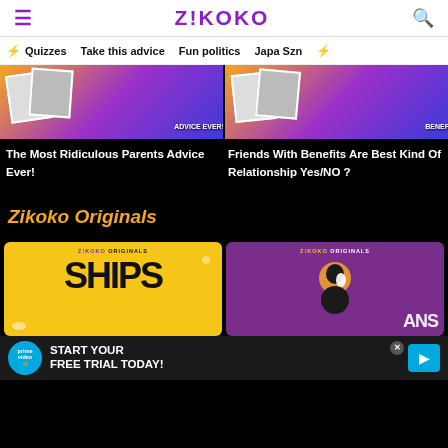Z!KOKO
Quizzes   Take this advice   Fun politics   Japa Szn
[Figure (photo): Article thumbnail image with text overlay ADVICE EVER! on a purple/orange background with polaroid photos]
The Most Ridiculous Parents Advice Ever!
[Figure (photo): Article thumbnail image with text overlay BENEF on a purple/orange background with polaroid photos]
Friends With Benefits Are Best Kind Of Relationship Yes/NO ?
Zikoko Originals
[Figure (photo): Zikoko Originals card showing SHIPS on yellow background with ZIKOKO ORIGINALS branding]
[Figure (photo): Zikoko Originals card on purple background with ZIKOKO ORIGINALS branding and a silhouetted figure]
[Figure (infographic): Amazon Prime Video ad banner: START YOUR FREE TRIAL TODAY! with prime video logo]